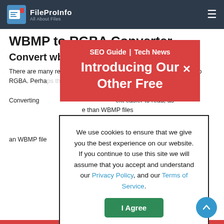FileProInfo — All About Files
WBMP to RGBA Converter
Convert wbmp to rgba online & free
There are many reasons why you might want to convert a WBMP file to RGBA. Perhaps the biggest benefit is that a RGBA can be read by more programs. A WBMP file is limited to displaying black and white images. That. Converting to RGBA would make the text easier to read, as RGBA supports more colors than WBMP files. You can also make changes to a document more efficiently if you save it in RGBA format that is compatible with most programs. Converting an WBMP file to RGBA is a straightforward task that can be done online. Use our WBMP to RGBA conv...
[Figure (screenshot): Red modal popup: 'SEO Guide | Tech News' header with 'Introducing Our Other Free' text and an X close button]
[Figure (screenshot): Cookie consent dialog: 'We use cookies to ensure that we give you the best experience on our website. If you continue to use this site we will assume that you accept and understand our Privacy Policy, and our Terms of Service.' with an 'I Agree' green button]